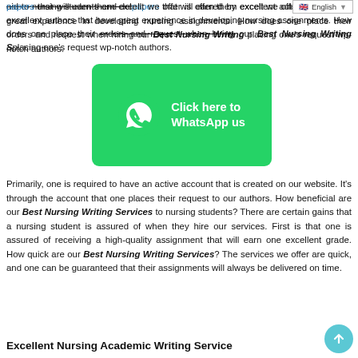aid to nursing students and delivering papers that will earn them excellent grades. The service we offer is offered by excellent authors that have great experience in developing nursing assignments. How does one place their orders and request when hiring our Best Nursing Writing Services? It entails placing one's request which is then directed to our top-notch authors.
[Figure (infographic): Green WhatsApp button with phone icon and text 'Click here to WhatsApp us']
Primarily, one is required to have an active account that is created on our website. It's through the account that one places their request to our authors. How beneficial are our Best Nursing Writing Services to nursing students? There are certain gains that a nursing student is assured of when they hire our services. First is that one is assured of receiving a high-quality assignment that will earn one excellent grade. How quick are our Best Nursing Writing Services? The services we offer are quick, and one can be guaranteed that their assignments will always be delivered on time.
Excellent Nursing Academic Writing Service